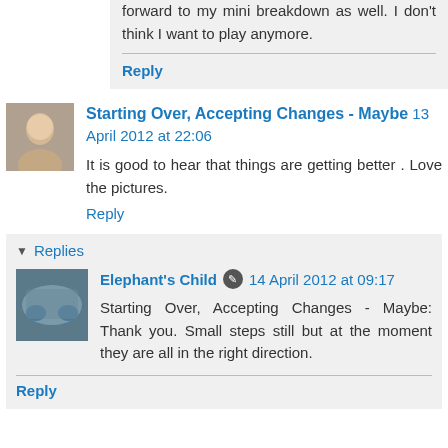forward to my mini breakdown as well. I don't think I want to play anymore.
Reply
Starting Over, Accepting Changes - Maybe 13 April 2012 at 22:06
It is good to hear that things are getting better . Love the pictures.
Reply
Replies
Elephant's Child 14 April 2012 at 09:17
Starting Over, Accepting Changes - Maybe: Thank you. Small steps still but at the moment they are all in the right direction.
Reply